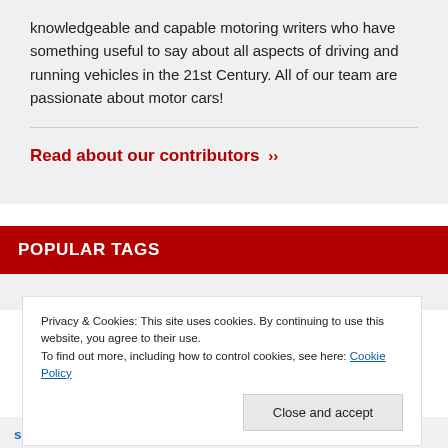knowledgeable and capable motoring writers who have something useful to say about all aspects of driving and running vehicles in the 21st Century. All of our team are passionate about motor cars!
Read about our contributors ››
POPULAR TAGS
Privacy & Cookies: This site uses cookies. By continuing to use this website, you agree to their use.
To find out more, including how to control cookies, see here: Cookie Policy
Close and accept
saloon   genesis   hatchback   hot hatch   hot hatchback